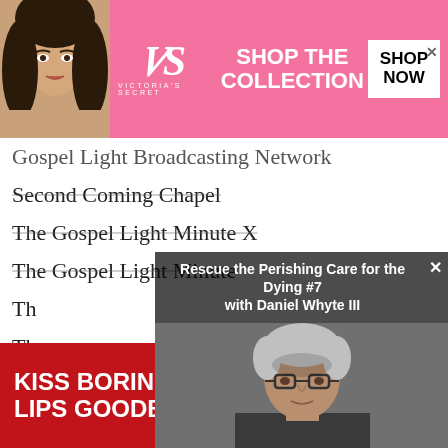[Figure (photo): Victoria's Secret advertisement banner with model, VS logo, 'SHOP THE COLLECTION' text and 'SHOP NOW' button on pink background]
Gospel Light Broadcasting Network
Second Coming Chapel
The Gospel Light Minute X
The Gospel Light Minute
Th[e...]
Th[e...]
Al[l...]
GL[...]
[Figure (screenshot): Video overlay popup titled 'Rescue the Perishing Care for the Dying #7 with Daniel Whyte III' showing a man with glasses and gray hair]
[Figure (photo): Macy's advertisement with 'KISS BORING LIPS GOODBYE' text, woman with red lips, and 'SHOP NOW' button on dark red background]